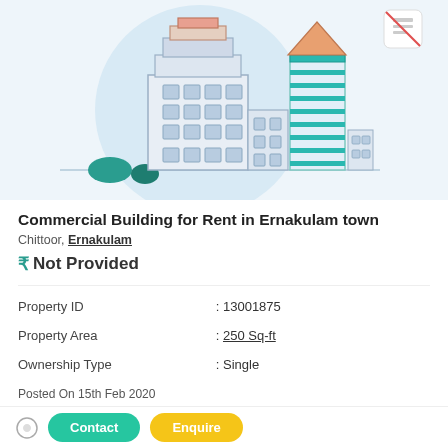[Figure (illustration): Illustration of commercial buildings with a light blue circular background. A tall main building with windows and a salmon/orange top, a teal skyscraper with an orange pyramid top on the right, smaller buildings and green bushes at the base.]
Commercial Building for Rent in Ernakulam town
Chittoor, Ernakulam
₹ Not Provided
| Property ID | : 13001875 |
| Property Area | : 250 Sq-ft |
| Ownership Type | : Single |
Posted On 15th Feb 2020